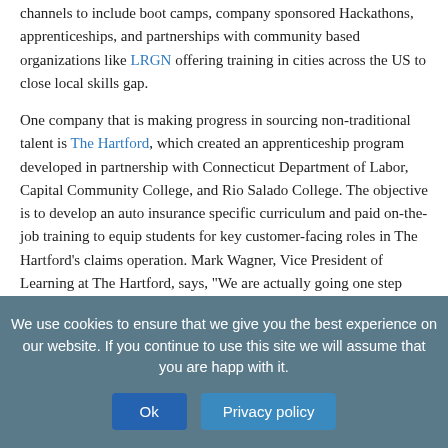channels to include boot camps, company sponsored Hackathons, apprenticeships, and partnerships with community based organizations like LRGN offering training in cities across the US to close local skills gap.
One company that is making progress in sourcing non-traditional talent is The Hartford, which created an apprenticeship program developed in partnership with Connecticut Department of Labor, Capital Community College, and Rio Salado College. The objective is to develop an auto insurance specific curriculum and paid on-the-job training to equip students for key customer-facing roles in The Hartford's claims operation. Mark Wagner, Vice President of Learning at The Hartford, says, "We are actually going one step beyond the apprenticeships to offering coaching and mentoring to enable success of these new hires."
#10) Make Your Workplace Experience A Top Priority
We use cookies to ensure that we give you the best experience on our website. If you continue to use this site we will assume that you are happy with it.